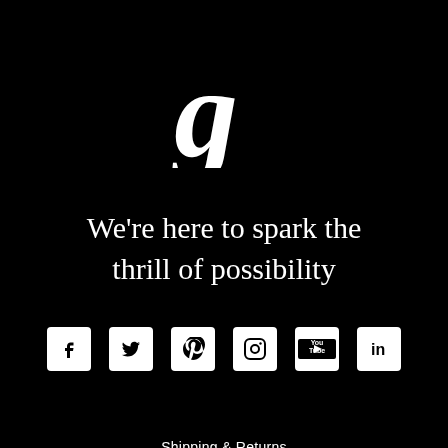[Figure (logo): Stylized italic serif lowercase letter 'g' in white on black background]
We're here to spark the thrill of possibility
[Figure (infographic): Row of six social media icons: Facebook, Twitter, Pinterest, Instagram, YouTube, LinkedIn — white icons on black background]
Shipping & Returns
Terms & Conditions